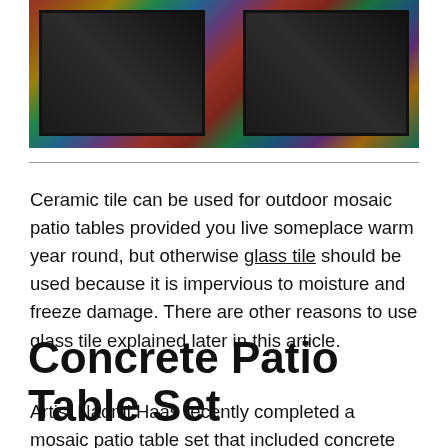[Figure (photo): Overhead photo of colorful mosaic patio tables with black frames set on stone/gravel patio surface]
Ceramic tile can be used for outdoor mosaic patio tables provided you live someplace warm year round, but otherwise glass tile should be used because it is impervious to moisture and freeze damage. There are other reasons to use glass tile explained later in this article.
Concrete Patio Table Set
Artist Naomi Haas recently completed a mosaic patio table set that included concrete benches